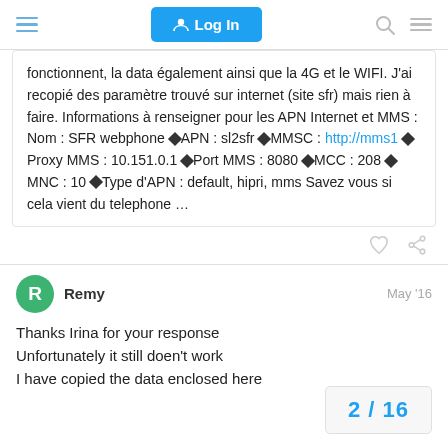Log In
fonctionnent, la data également ainsi que la 4G et le WIFI. J'ai recopié des paramètre trouvé sur internet (site sfr) mais rien à faire. Informations à renseigner pour les APN Internet et MMS : Nom : SFR webphone ◆APN : sl2sfr ◆MMSC : http://mms1 ◆Proxy MMS : 10.151.0.1 ◆Port MMS : 8080 ◆MCC : 208 ◆MNC : 10 ◆Type d'APN : default, hipri, mms Savez vous si cela vient du telephone ...
Remy May '16
Thanks Irina for your response
Unfortunately it still doen't work
I have copied the data enclosed here
2 / 16